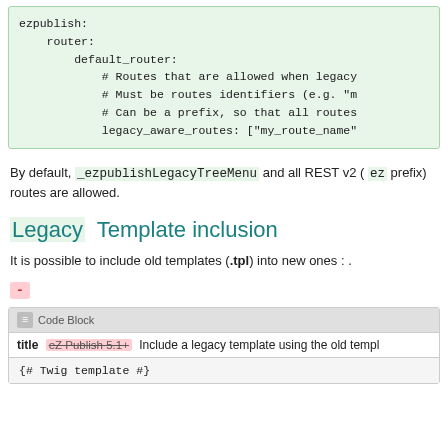[Figure (screenshot): Code block showing YAML configuration for ezpublish router default_router with legacy_aware_routes setting]
By default, _ezpublishLegacyTreeMenu and all REST v2 ( ez prefix) routes are allowed.
Legacy  Template inclusion
It is possible to include old templates (.tpl) into new ones : .
-
[Figure (screenshot): UI Code Block with title 'eZ Publish 5.1+  Include a legacy template using the old template' and code: {# Twig template #}]